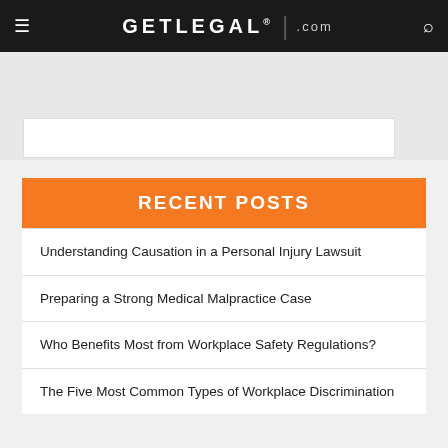GETLEGAL.com
RECENT POSTS
Understanding Causation in a Personal Injury Lawsuit
Preparing a Strong Medical Malpractice Case
Who Benefits Most from Workplace Safety Regulations?
The Five Most Common Types of Workplace Discrimination